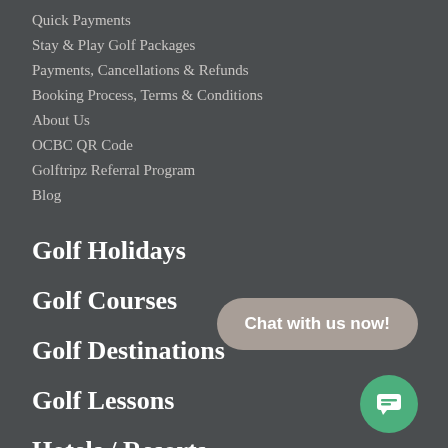Quick Payments
Stay & Play Golf Packages
Payments, Cancellations & Refunds
Booking Process, Terms & Conditions
About Us
OCBC QR Code
Golftripz Referral Program
Blog
Golf Holidays
Golf Courses
Golf Destinations
Golf Lessons
Hotels / Resorts
Sightseeing
Chat with us now!